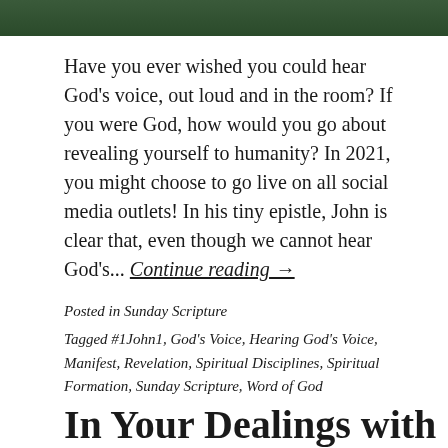[Figure (photo): Partial view of a nature/forest photograph at the top of the page, dark green tones]
Have you ever wished you could hear God's voice, out loud and in the room? If you were God, how would you go about revealing yourself to humanity? In 2021, you might choose to go live on all social media outlets! In his tiny epistle, John is clear that, even though we cannot hear God's... Continue reading →
Posted in Sunday Scripture
Tagged #1John1, God's Voice, Hearing God's Voice, Manifest, Revelation, Spiritual Disciplines, Spiritual Formation, Sunday Scripture, Word of God
In Your Dealings with